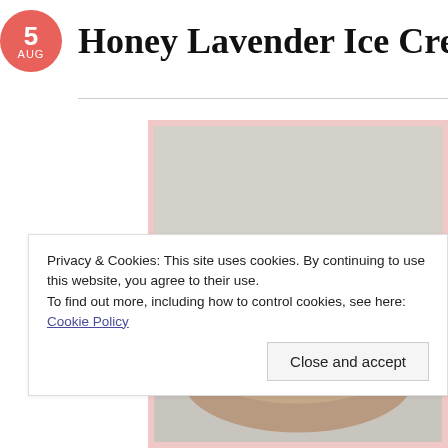5 AUG
Honey Lavender Ice Cream
[Figure (photo): A scoop of pale yellow/cream honey lavender ice cream in a bowl, photographed from above on a light gray background]
Privacy & Cookies: This site uses cookies. By continuing to use this website, you agree to their use.
To find out more, including how to control cookies, see here: Cookie Policy
Close and accept